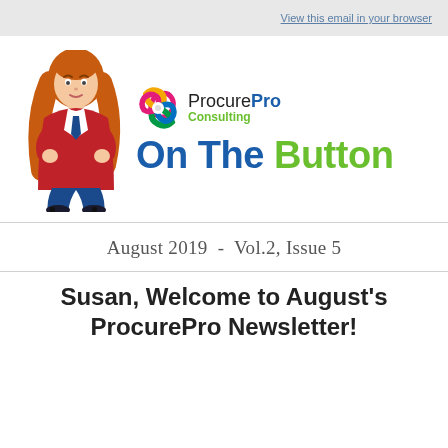View this email in your browser
[Figure (logo): ProcurePro Consulting logo with cartoon woman character, colorful swirl icon, company name ProcurePro Consulting, and newsletter title On The Button]
August 2019  -  Vol.2, Issue 5
Susan, Welcome to August's ProcurePro Newsletter!